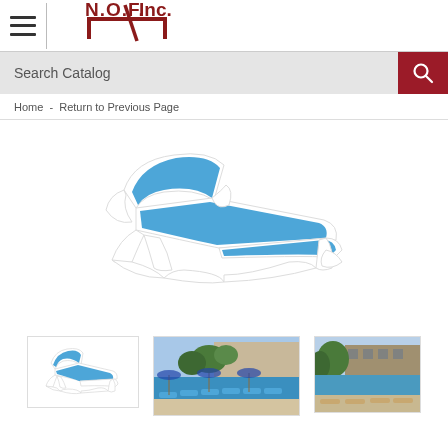[Figure (logo): N.O.F. Inc. logo with red diagonal line and table graphic]
Search Catalog
Home - Return to Previous Page
[Figure (photo): Blue and white outdoor reclining lounge chair on white background]
[Figure (photo): Thumbnail of blue and white lounge chair on white background]
[Figure (photo): Poolside scene with many blue lounge chairs at a resort]
[Figure (photo): Outdoor poolside area with lounge chairs at a building/hotel]